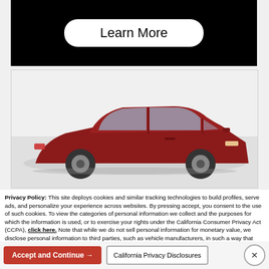[Figure (screenshot): Black banner with a white rounded 'Learn More' button in the center]
[Figure (photo): A red sedan car silhouette visible from the side, on a light gray background, inside a bordered box]
Privacy Policy: This site deploys cookies and similar tracking technologies to build profiles, serve ads, and personalize your experience across websites. By pressing accept, you consent to the use of such cookies. To view the categories of personal information we collect and the purposes for which the information is used, or to exercise your rights under the California Consumer Privacy Act (CCPA), click here. Note that while we do not sell personal information for monetary value, we disclose personal information to third parties, such as vehicle manufacturers, in such a way that may be considered a "sale" of personal information under the CCPA. To direct us to stop the sale of your personal information, or to re-access these settings or disclosures at anytime, click the following icon or link:
Do Not Sell My Personal Information
Language: English  ∨   Powered by ComplyAuto
Accept and Continue →
California Privacy Disclosures